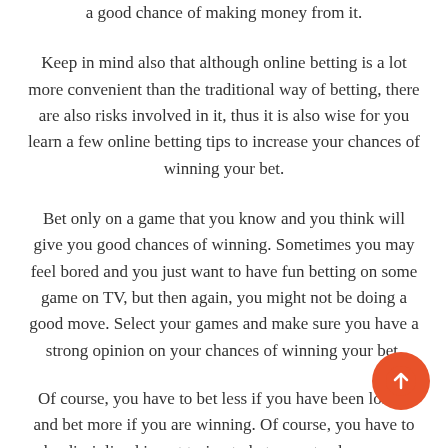a good chance of making money from it.
Keep in mind also that although online betting is a lot more convenient than the traditional way of betting, there are also risks involved in it, thus it is also wise for you learn a few online betting tips to increase your chances of winning your bet.
Bet only on a game that you know and you think will give you good chances of winning. Sometimes you may feel bored and you just want to have fun betting on some game on TV, but then again, you might not be doing a good move. Select your games and make sure you have a strong opinion on your chances of winning your bet.
Of course, you have to bet less if you have been losing and bet more if you are winning. Of course, you have to be disciplined in not trying to bet more to chase your losses. This will most likely lead you to losing more.